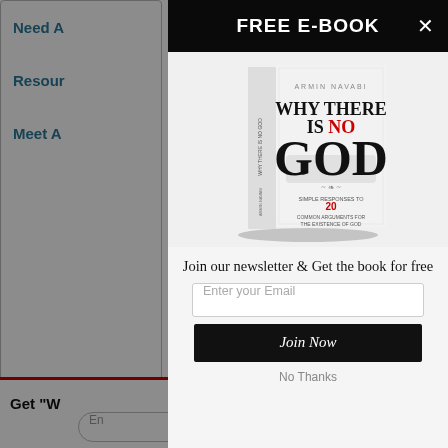Need A | Resour | Meet A (partially visible nav)
FREE E-BOOK
[Figure (illustration): Book cover: 'Why There Is No God' by Armin Navabi. White cover with large dark smoky letters spelling GOD, subtitle: Simple Responses to 20 Common Arguments for the Existence of God]
Join our newsletter & Get the book for free
Enter your Email
Join Now
No Thanks
Get "W..."
En...